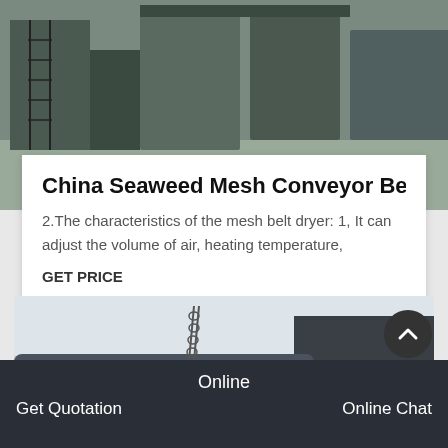[Figure (photo): Industrial equipment photo showing large machinery, tanks, and ladders in an outdoor industrial facility, gray and dark tones]
China Seaweed Mesh Conveyor Belt
2.The characteristics of the mesh belt dryer: 1, It can adjust the volume of air, heating temperature,
GET PRICE
[Figure (photo): Industrial pipe or drum equipment photo, dark metallic surface with chains visible, misty/foggy background]
Online | Get Quotation | Online Chat